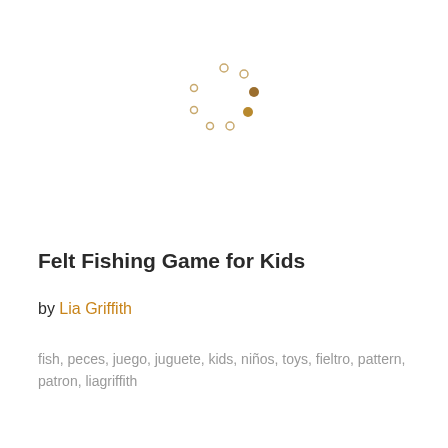[Figure (other): A circular loading spinner made of small dots in varying shades of brown/gold, arranged in a circle pattern. Some dots are filled solid brown, others are outlined/lighter.]
Felt Fishing Game for Kids
by Lia Griffith
fish, peces, juego, juguete, kids, niños, toys, fieltro, pattern, patron, liagriffith